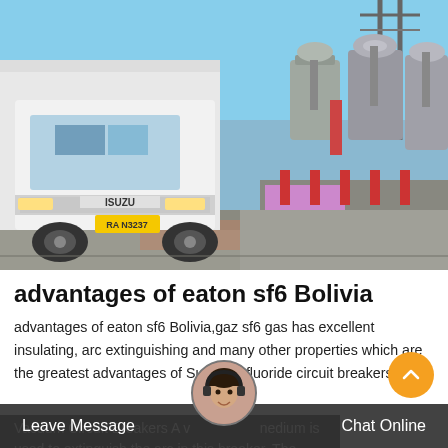[Figure (photo): A white Isuzu truck with yellow license plate 'RA N3237' parked at an electrical substation with large grey transformers and power line towers in the background under a blue sky.]
advantages of eaton sf6 Bolivia
advantages of eaton sf6 Bolivia,gaz sf6 gas has excellent insulating, arc extinguishing and many other properties which are the greatest advantages of Sulfrhexafluoride circuit breakers.
Vacuum Circuit Breakers A vacuum medium is used to extinguish the arc in this breaker. The vacuum has a dielectric